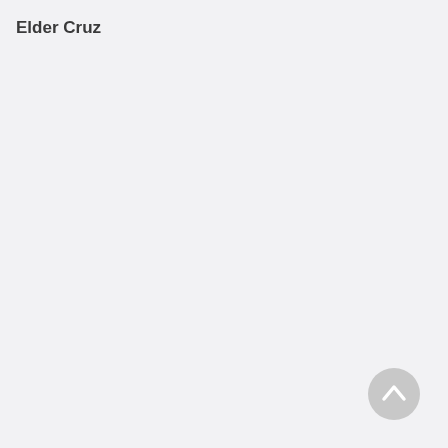Elder Cruz
[Figure (other): A circular back-to-top button with an upward-pointing chevron arrow, light gray background]